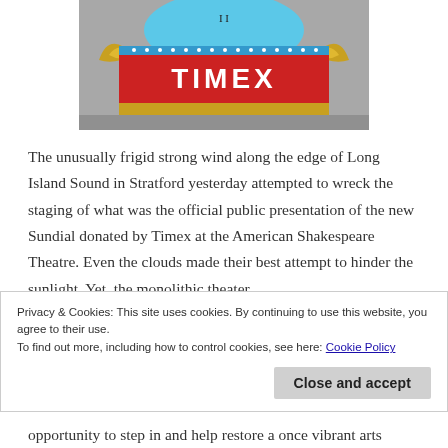[Figure (photo): Photo of a Timex branded clock/sundial display with blue decorative elements, red banner with TIMEX text in white letters, and gold ornamental details]
The unusually frigid strong wind along the edge of Long Island Sound in Stratford yesterday attempted to wreck the staging of what was the official public presentation of the new Sundial donated by Timex at the American Shakespeare Theatre. Even the clouds made their best attempt to hinder the sunlight. Yet, the monolithic theater
Privacy & Cookies: This site uses cookies. By continuing to use this website, you agree to their use.
To find out more, including how to control cookies, see here: Cookie Policy
opportunity to step in and help restore a once vibrant arts